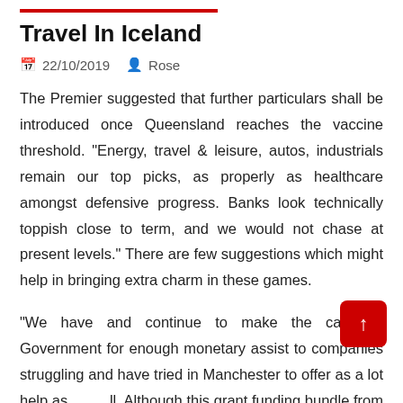Travel In Iceland
22/10/2019   Rose
The Premier suggested that further particulars shall be introduced once Queensland reaches the vaccine threshold. “Energy, travel & leisure, autos, industrials remain our top picks, as properly as healthcare amongst defensive progress. Banks look technically toppish close to term, and we would not chase at present levels.” There are few suggestions which might help in bringing extra charm in these games.
“We have and continue to make the case to Government for enough monetary assist to companies struggling and have tried in Manchester to offer as a lot help as possible. Although this grant funding bundle from the Government is not going to fully take in the earnings losses that the